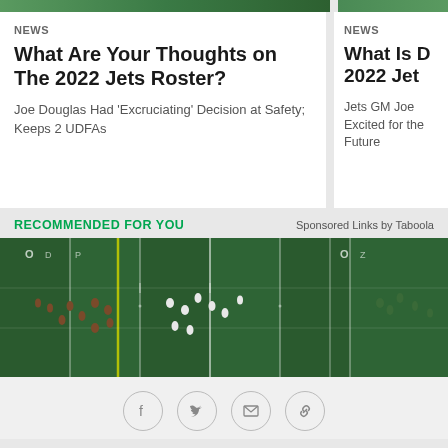[Figure (photo): Partial top image strip showing green background (sports related)]
NEWS
What Are Your Thoughts on The 2022 Jets Roster?
Joe Douglas Had 'Excruciating' Decision at Safety; Keeps 2 UDFAs
NEWS
What Is D 2022 Jet
Jets GM Joe Excited for the Future
RECOMMENDED FOR YOU
Sponsored Links by Taboola
[Figure (photo): Aerial view of a football field with players lined up during a play, green turf with yard lines visible]
[Figure (other): Social sharing buttons: Facebook, Twitter, Email, Link]